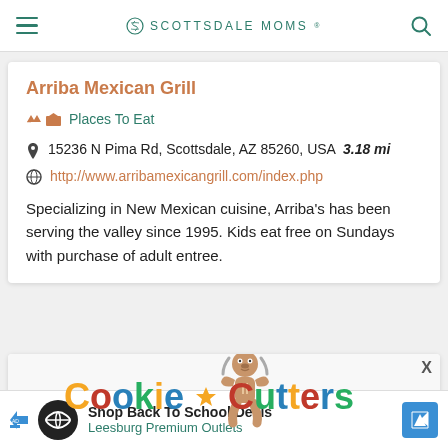SCOTTSDALE MOMS
Arriba Mexican Grill
Places To Eat
15236 N Pima Rd, Scottsdale, AZ 85260, USA  3.18 mi
http://www.arribamexicangrill.com/index.php
Specializing in New Mexican cuisine, Arriba's has been serving the valley since 1995. Kids eat free on Sundays with purchase of adult entree.
[Figure (logo): Cookie Cutters logo with colorful text and gingerbread man mascot]
Shop Back To School Deals
Leesburg Premium Outlets